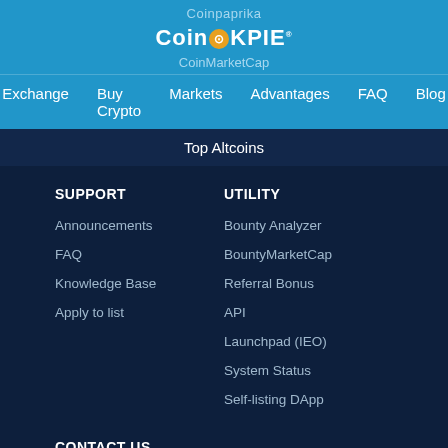Coinpaprika
TOKPIE (logo)
CoinMarketCap
Exchange  Buy Crypto  Markets  Advantages  FAQ  Blog
Top Altcoins
SUPPORT
Announcements
FAQ
Knowledge Base
Apply to list
UTILITY
Bounty Analyzer
BountyMarketCap
Referral Bonus
API
Launchpad (IEO)
System Status
Self-listing DApp
CONTACT US
Telegram
Email: info@tokpie.com